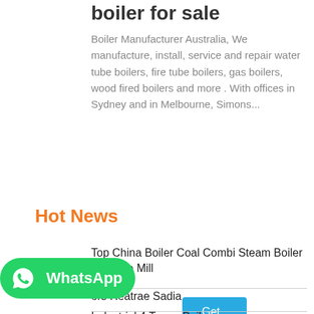boiler for sale
Boiler Manufacturer Australia, We manufacture, install, service and repair water tube boilers, fire tube boilers, gas boilers, wood fired boilers and more . With offices in Sydney and in Melbourne, Simons...
Get Price
Hot News
Top China Boiler Coal Combi Steam Boiler For Rice Mill
ers Heatrae Sadia
Industrial 4 Tonne Boilers
[Figure (logo): WhatsApp green badge with phone icon and 'WhatsApp' text]